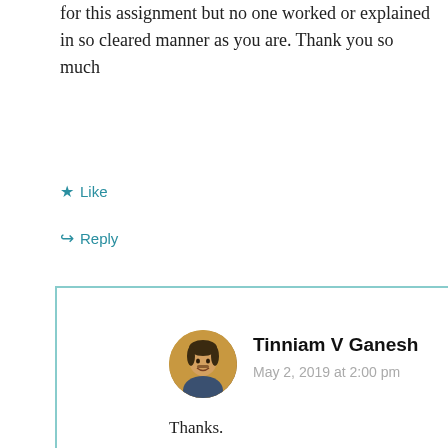for this assignment but no one worked or explained in so cleared manner as you are. Thank you so much
Like
Reply
Tinniam V Ganesh
May 2, 2019 at 2:00 pm
Thanks.
Like
Reply